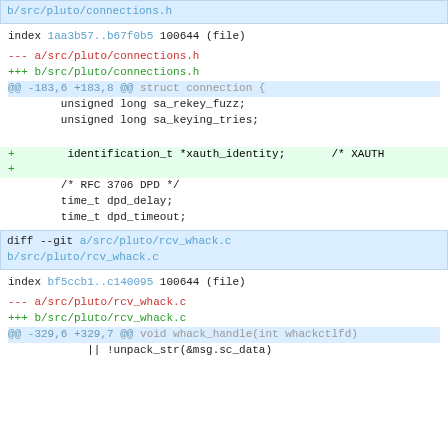b/src/pluto/connections.h
index 1aa3b57..b67f0b5 100644 (file)
--- a/src/pluto/connections.h
+++ b/src/pluto/connections.h
@@ -183,6 +183,8 @@ struct connection {
unsigned long sa_rekey_fuzz;
        unsigned long sa_keying_tries;

+        identification_t *xauth_identity;      /* XAUTH
+
        /* RFC 3706 DPD */
        time_t dpd_delay;
        time_t dpd_timeout;
diff --git a/src/pluto/rcv_whack.c b/src/pluto/rcv_whack.c
index bf5ccb1..c140095 100644 (file)
--- a/src/pluto/rcv_whack.c
+++ b/src/pluto/rcv_whack.c
@@ -329,6 +329,7 @@ void whack_handle(int whackctlfd)
|| !unpack_str(&msg.sc_data)